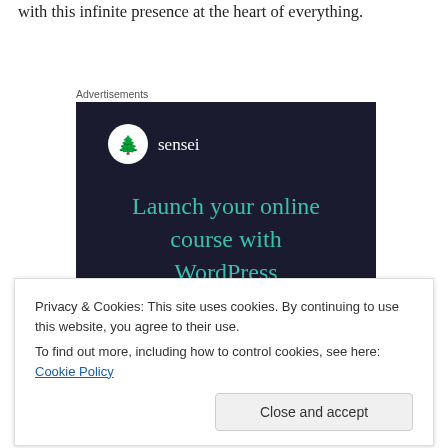with this infinite presence at the heart of everything.
Advertisements
[Figure (other): Sensei advertisement banner with dark navy background. Shows Sensei logo (tree icon in white circle) and text 'Launch your online course with WordPress' in teal/green color. Green 'Learn More' button at bottom.]
Privacy & Cookies: This site uses cookies. By continuing to use this website, you agree to their use.
To find out more, including how to control cookies, see here: Cookie Policy
Close and accept
consequence of being bad.  I even had a boss who would